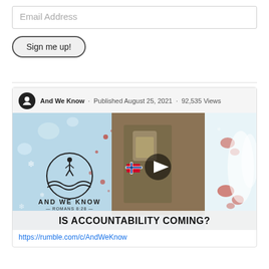Email Address
Sign me up!
[Figure (screenshot): Video thumbnail from Rumble: And We Know channel, Published August 25, 2021, 92,535 Views. Thumbnail shows 'IS ACCOUNTABILITY COMING?' with the And We Know logo and a soldier with Norwegian flag patch.]
https://rumble.com/c/AndWeKnow